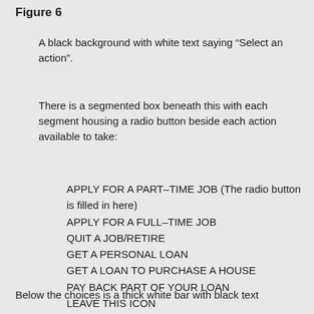Figure 6
A black background with white text saying “Select an action”.
There is a segmented box beneath this with each segment housing a radio button beside each action available to take:
APPLY FOR A PART–TIME JOB (The radio button is filled in here)
APPLY FOR A FULL–TIME JOB
QUIT A JOB/RETIRE
GET A PERSONAL LOAN
GET A LOAN TO PURCHASE A HOUSE
PAY BACK PART OF YOUR LOAN
LEAVE THIS ICON
Below the choices is a thick white bar with black text